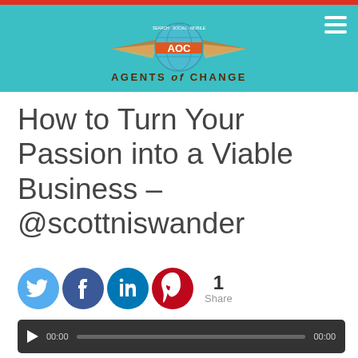[Figure (logo): Agents of Change logo with AOC globe and wings emblem on teal header bar]
How to Turn Your Passion into a Viable Business – @scottniswander
[Figure (infographic): Social share icons: Twitter (light blue), Facebook (dark blue), LinkedIn (blue), Pinterest (red), with share count of 1]
[Figure (screenshot): Audio podcast player bar showing 00:00 / 00:00 with play button and progress bar]
Podcast: Play in new window | Download